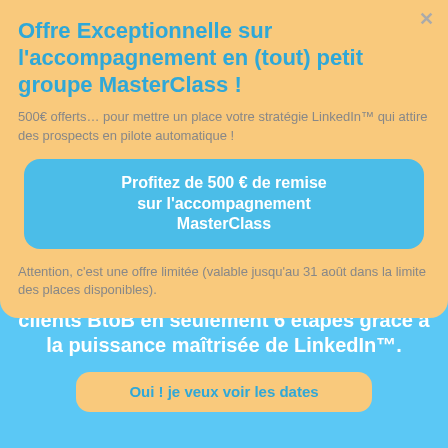Offre Exceptionnelle sur l'accompagnement en (tout) petit groupe MasterClass !
500€ offerts… pour mettre un place votre stratégie LinkedIn™ qui attire des prospects en pilote automatique !
Profitez de 500 € de remise sur l'accompagnement MasterClass
Attention, c'est une offre limitée (valable jusqu'au 31 août dans la limite des places disponibles).
clients BtoB en seulement 6 étapes grâce à la puissance maîtrisée de LinkedIn™.
Oui ! je veux voir les dates